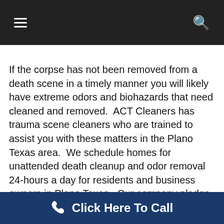Navigation bar with hamburger menu and search icon
If the corpse has not been removed from a death scene in a timely manner you will likely have extreme odors and biohazards that need cleaned and removed.  ACT Cleaners has trauma scene cleaners who are trained to assist you with these matters in the Plano Texas area.  We schedule homes for unattended death cleanup and odor removal 24-hours a day for residents and business owners in Plano Texas.  Our company pledge is to try to treat every home as if it were our own, and we try to ensure the highest quality biohazard cleaning.  Our specialty cleaning is blood cleanup which goes hand
Click Here To Call